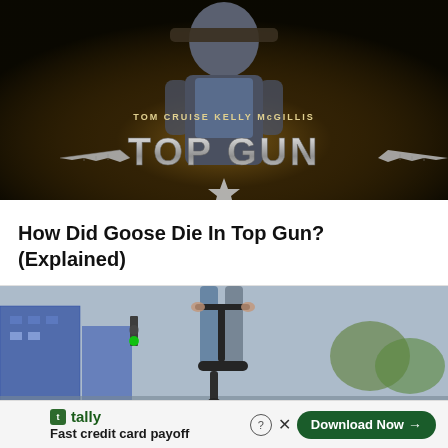[Figure (photo): Top Gun movie cover/DVD case showing Tom Cruise and Kelly McGillis with the Top Gun logo (metallic silver text with wings and star)]
How Did Goose Die In Top Gun? (Explained)
[Figure (photo): Person riding an electric scooter on a city street with buildings and traffic lights in the background]
tally  Fast credit card payoff  Download Now →